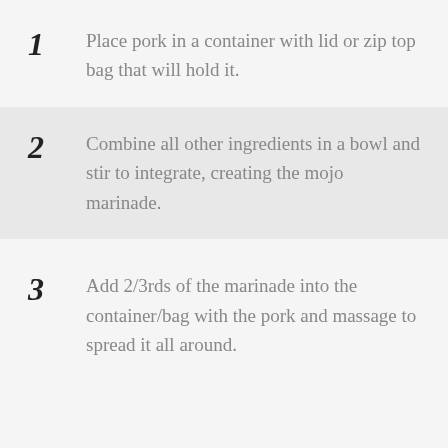1  Place pork in a container with lid or zip top bag that will hold it.
2  Combine all other ingredients in a bowl and stir to integrate, creating the mojo marinade.
3  Add 2/3rds of the marinade into the container/bag with the pork and massage to spread it all around.